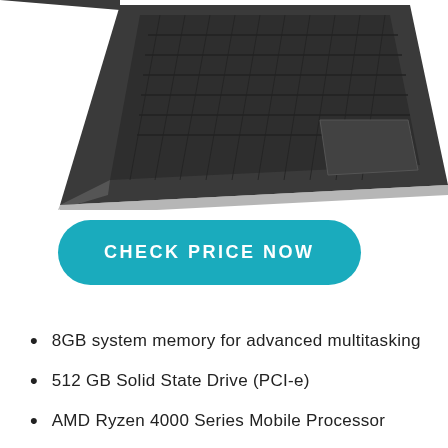[Figure (photo): Partial view of a dark gray/black laptop from above-front angle, showing keyboard and trackpad on white background]
CHECK PRICE NOW
8GB system memory for advanced multitasking
512 GB Solid State Drive (PCI-e)
AMD Ryzen 4000 Series Mobile Processor